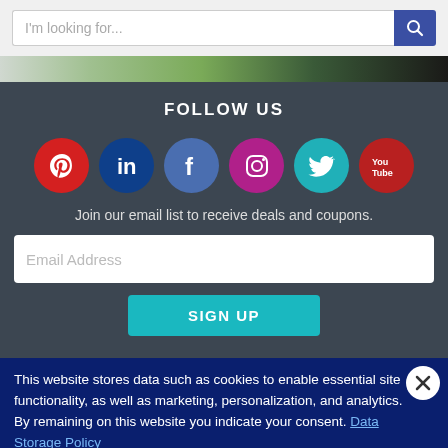I'm looking for...
[Figure (illustration): Partial green/dark image strip at top]
FOLLOW US
[Figure (infographic): Six social media icons: Pinterest (red), LinkedIn (dark blue), Facebook (blue), Instagram (magenta), Twitter (teal), YouTube (red)]
Join our email list to receive deals and coupons.
Email Address
SIGN UP
This website stores data such as cookies to enable essential site functionality, as well as marketing, personalization, and analytics. By remaining on this website you indicate your consent. Data Storage Policy